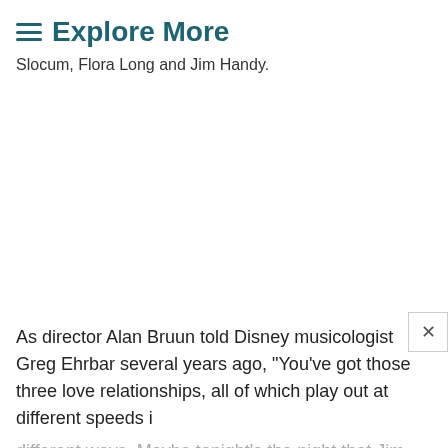≡ Explore More
Slocum, Flora Long and Jim Handy.
As director Alan Bruun told Disney musicologist Greg Ehrbar several years ago, "You've got those three love relationships, all of which play out at different speeds in different ways. Maybe tonight's the night that Jim Handy is going to finally commit and pop the question to